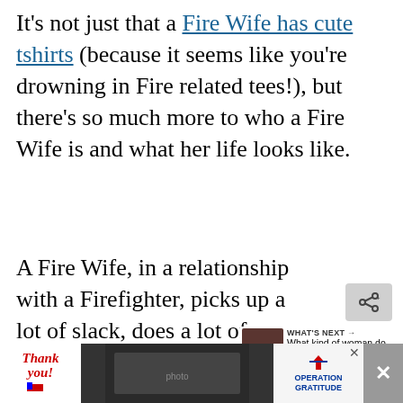It's not just that a Fire Wife has cute tshirts (because it seems like you're drowning in Fire related tees!), but there's so much more to who a Fire Wife is and what her life looks like.
A Fire Wife, in a relationship with a Firefighter, picks up a lot of slack, does a lot of things on her own, and navigate the complexities of LODD a...
[Figure (screenshot): UI overlay with heart/like button (red circle with heart icon) and share button, plus a 'WHAT'S NEXT' panel showing a thumbnail and text 'What kind of woman do...']
[Figure (photo): Advertisement banner at the bottom showing 'Thank you!' text with American flag imagery on the left, firefighters photo in the center, and Operation Gratitude logo on the right with a close button.]